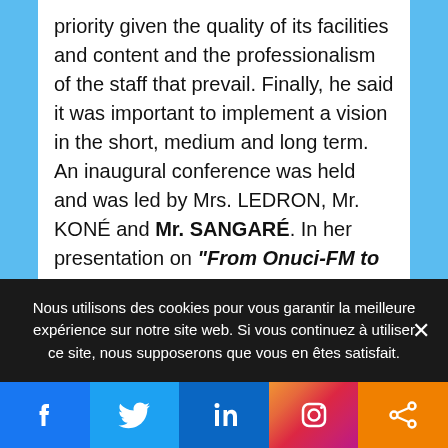priority given the quality of its facilities and content and the professionalism of the staff that prevail. Finally, he said it was important to implement a vision in the short, medium and long term.

An inaugural conference was held and was led by Mrs. LEDRON, Mr. KONÉ and Mr. SANGARÉ. In her presentation on "From Onuci-FM to Peace Radio", Mrs. LEDRON traced all the significant stages of the UN radio in Côte d'Ivoire until her effective transfer to the FHR Foundation. The
Nous utilisons des cookies pour vous garantir la meilleure expérience sur notre site web. Si vous continuez à utiliser ce site, nous supposerons que vous en êtes satisfait.